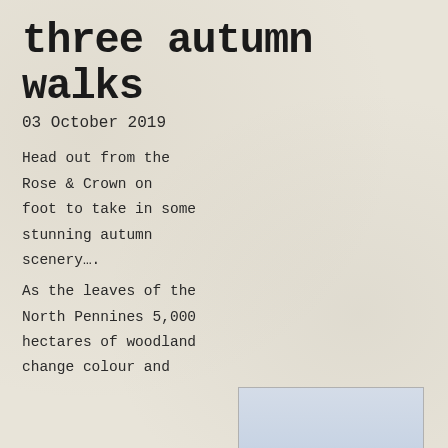three autumn walks
03 October 2019
Head out from the Rose & Crown on foot to take in some stunning autumn scenery….
[Figure (photo): A minimal landscape photograph showing a flat horizon with pale blue-grey sky above and sandy/pale ground below.]
As the leaves of the North Pennines 5,000 hectares of woodland change colour and the cooling air brings with it a subtle calm, autumn offers the perfect time to visit us and explore the surrounding Area of Outstanding Natural Beauty.